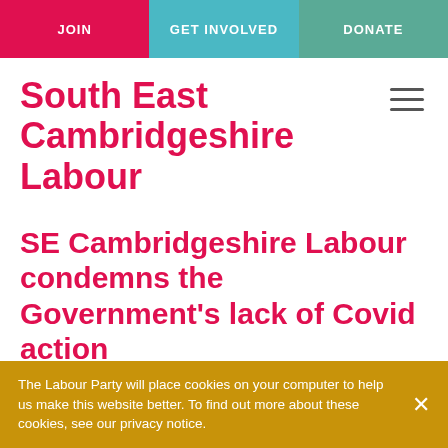JOIN | GET INVOLVED | DONATE
South East Cambridgeshire Labour
SE Cambridgeshire Labour condemns the Government's lack of Covid action
20th October, 2021
The Labour Party will place cookies on your computer to help us make this website better. To find out more about these cookies, see our privacy notice.